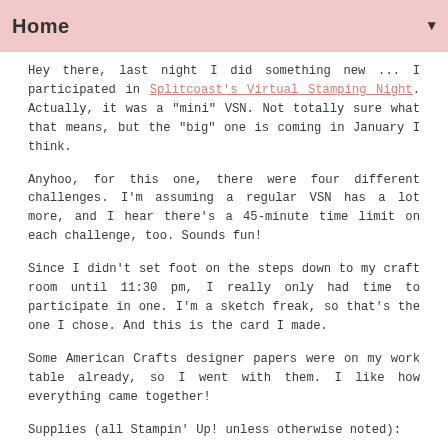Home
Hey there, last night I did something new ... I participated in Splitcoast's Virtual Stamping Night. Actually, it was a "mini" VSN. Not totally sure what that means, but the "big" one is coming in January I think.
Anyhoo, for this one, there were four different challenges. I'm assuming a regular VSN has a lot more, and I hear there's a 45-minute time limit on each challenge, too. Sounds fun!
Since I didn't set foot on the steps down to my craft room until 11:30 pm, I really only had time to participate in one. I'm a sketch freak, so that's the one I chose. And this is the card I made.
Some American Crafts designer papers were on my work table already, so I went with them. I like how everything came together!
Supplies (all Stampin' Up! unless otherwise noted):